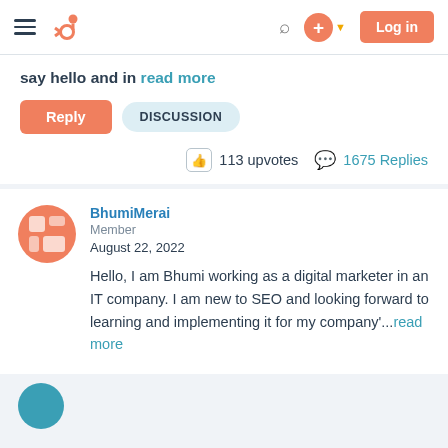HubSpot Community - Navigation bar with hamburger menu, HubSpot logo, search icon, plus button, Log in button
say hello and in read more
Reply | DISCUSSION
113 upvotes   1675 Replies
BhumiMerai
Member
August 22, 2022

Hello, I am Bhumi working as a digital marketer in an IT company. I am new to SEO and looking forward to learning and implementing it for my company'...read more